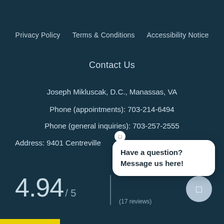Privacy Policy   Terms & Conditions   Accessibility Notice
Contact Us
Joseph Mikluscak, D.C., Manassas, VA
Phone (appointments): 703-214-6494
Phone (general inquiries): 703-257-2555
Address: 9401 Centreville
4.94 / 5
(17 reviews)
[Figure (other): Chat popup bubble with bold text: Have a question? Message us here!]